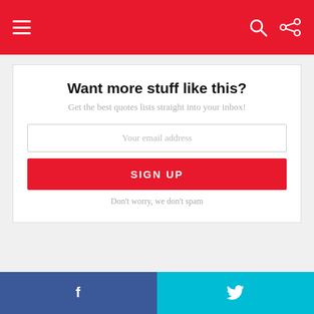Navigation bar with hamburger menu, search icon, and share icon
Want more stuff like this?
Get the best quotes lists straight into your inbox!
Your email address
SIGN UP
Don't worry, we don't spam
Previous article
Collection : 67 Sad Quotes About Love And Pain Of Love
Facebook and Twitter share buttons